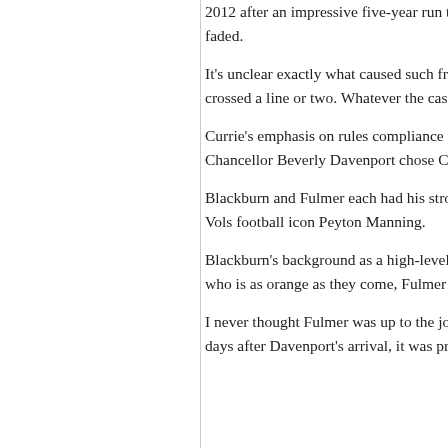2012 after an impressive five-year run that then hired former Illinois coach Bruce Web faded.
It's unclear exactly what caused such frict stickler for playing by the rules, particularly crossed a line or two. Whatever the case, Cr
Currie's emphasis on rules compliance prob background as an athletics director at a Pow Chancellor Beverly Davenport chose Currie race between David Blackburn and Fulmer.
Blackburn and Fulmer each had his strong s included heavy financial hitters like Jimmy Vols football icon Peyton Manning.
Blackburn's background as a high-level sta performance as AD at UT Chattanooga wer who is as orange as they come, Fulmer was
I never thought Fulmer was up to the job. T to the athletic director's spot are long gone. days after Davenport's arrival, it was pretty